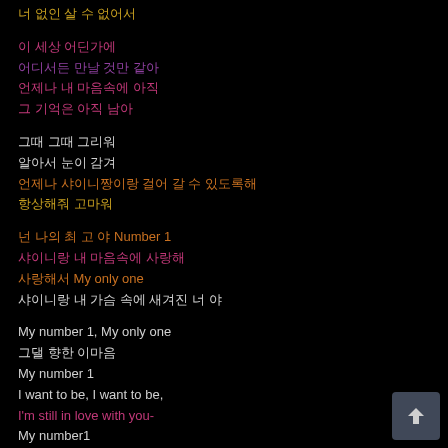너 없인 살 수 없어서
이 세상 어딘가에
어디서든 만날 것만 같아
언제나 내 마음속에 아직
그 기억은 아직 남아
그때 그때 그리워
알아서 눈이 감겨
언제나 샤이니짱이랑 걸어 갈 수 있도록해
항상해줘 고마워
넌 나의 최 고 야 Number 1
샤이니랑 내 마음속에 사랑해
사랑해서 My only one
샤이니랑 내 가슴 속에 새겨진 너 야
My number 1, My only one
그댈 향한 이마음
My number 1
I want to be, I want to be,
I'm still in love with you-
My number1